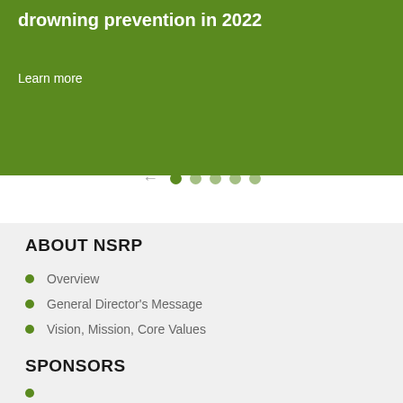[Figure (screenshot): Green banner with bold white text 'drowning prevention in 2022' and 'Learn more' link below, with a narrow green bar on the right side]
[Figure (other): Carousel navigation with left arrow and five green dots]
ABOUT NSRP
Overview
General Director's Message
Vision, Mission, Core Values
SPONSORS